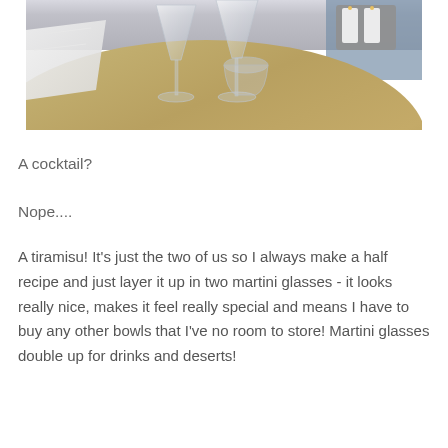[Figure (photo): Photo of two empty martini glasses on a round wooden table, with a white napkin and a candle holder visible in the background]
A cocktail?
Nope....
A tiramisu! It's just the two of us so I always make a half recipe and just layer it up in two martini glasses - it looks really nice, makes it feel really special and means I have to buy any other bowls that I've no room to store! Martini glasses double up for drinks and deserts!